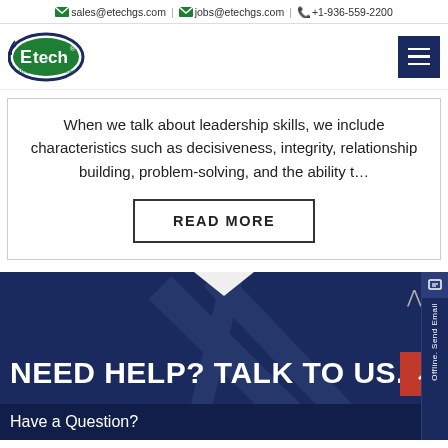| sales@etechgs.com | jobs@etechgs.com | +1-936-559-2200
[Figure (logo): Etech logo - green oval with white Etech text and tagline]
When we talk about leadership skills, we include characteristics such as decisiveness, integrity, relationship building, problem-solving, and the ability t…
READ MORE
NEED HELP? TALK TO US.
Have a Question?
Offline. Send Email